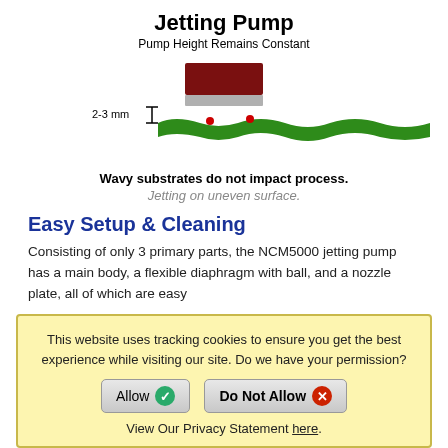Jetting Pump
Pump Height Remains Constant
[Figure (engineering-diagram): Side-view diagram of a jetting pump hovering above a wavy green substrate. The pump body (dark red/maroon rectangle with a gray base) is held at a constant height. The wavy green surface has two small red dots on it. A bracket annotation on the left shows '2-3 mm' indicating the gap between the pump and the surface.]
Wavy substrates do not impact process.
Jetting on uneven surface.
Easy Setup & Cleaning
Consisting of only 3 primary parts, the NCM5000 jetting pump has a main body, a flexible diaphragm with ball, and a nozzle plate, all of which are easy
This website uses tracking cookies to ensure you get the best experience while visiting our site. Do we have your permission?
View Our Privacy Statement here.